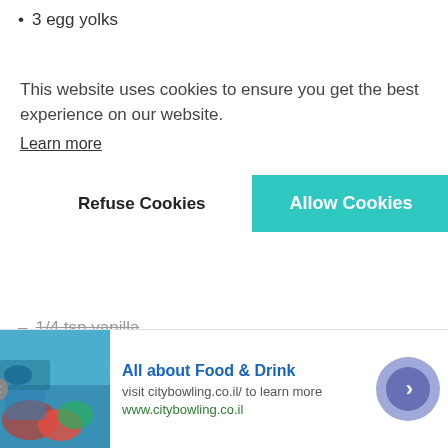3 egg yolks
This website uses cookies to ensure you get the best experience on our website.
Learn more
Refuse Cookies  Allow Cookies
1/4 tsp vanilla
1/3 cup bread crumbs
INSTRUCTIONS:
infolinks   ...bowl, mix and combine all filling. Set Aside.
[Figure (screenshot): Ad banner for 'All about Food & Drink' from citybowling.co.il with food photo, navigation arrow, and close button]